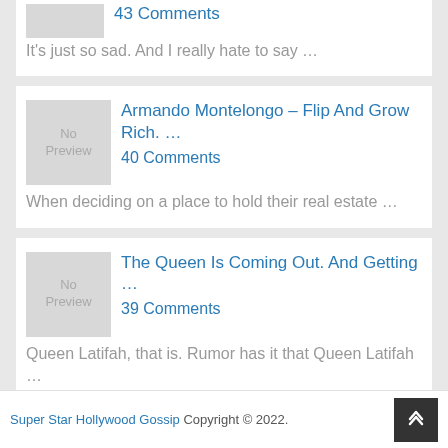43 Comments
It's just so sad. And I really hate to say …
Armando Montelongo – Flip And Grow Rich. …
40 Comments
When deciding on a place to hold their real estate …
The Queen Is Coming Out. And Getting …
39 Comments
Queen Latifah, that is. Rumor has it that Queen Latifah …
Super Star Hollywood Gossip Copyright © 2022.